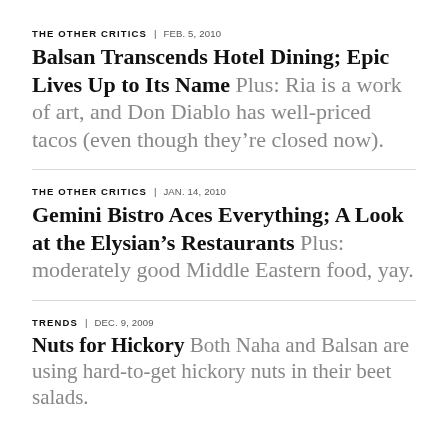THE OTHER CRITICS | FEB. 5, 2010
Balsan Transcends Hotel Dining; Epic Lives Up to Its Name Plus: Ria is a work of art, and Don Diablo has well-priced tacos (even though they’re closed now).
THE OTHER CRITICS | JAN. 14, 2010
Gemini Bistro Aces Everything; A Look at the Elysian’s Restaurants Plus: moderately good Middle Eastern food, yay.
TRENDS | DEC. 9, 2009
Nuts for Hickory Both Naha and Balsan are using hard-to-get hickory nuts in their beet salads.